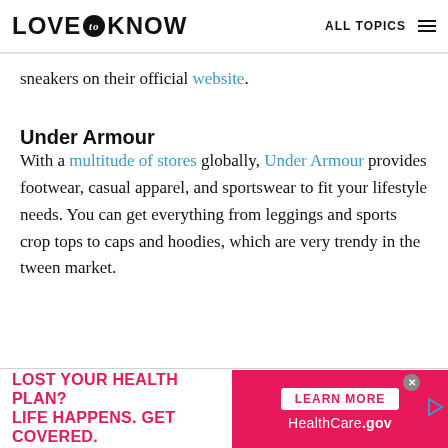LOVE to KNOW  ALL TOPICS
sneakers on their official website.
Under Armour
With a multitude of stores globally, Under Armour provides footwear, casual apparel, and sportswear to fit your lifestyle needs. You can get everything from leggings and sports crop tops to caps and hoodies, which are very trendy in the tween market.
[Figure (other): Advertisement banner: LOST YOUR HEALTH PLAN? LIFE HAPPENS. GET COVERED. LEARN MORE HealthCare.gov]